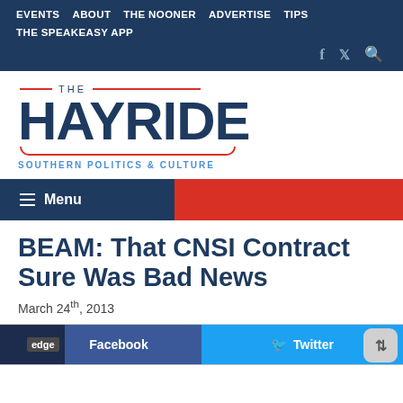EVENTS  ABOUT  THE NOONER  ADVERTISE  TIPS  THE SPEAKEASY APP
[Figure (logo): The Hayride - Southern Politics & Culture logo with red accent lines]
☰ Menu
BEAM: That CNSI Contract Sure Was Bad News
March 24th, 2013
[Figure (screenshot): Social sharing buttons: Facebook and Twitter share buttons with Edge browser overlay and scroll button]